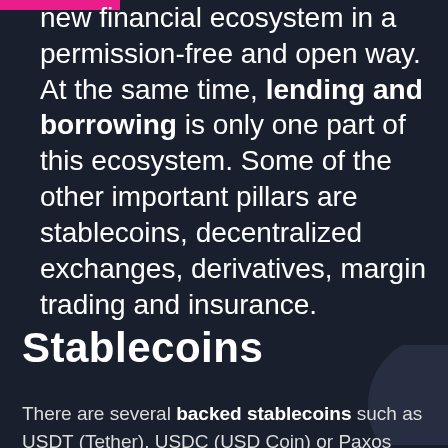...trying to build this whole new financial ecosystem in a permission-free and open way. At the same time, lending and borrowing is only one part of this ecosystem. Some of the other important pillars are stablecoins, decentralized exchanges, derivatives, margin trading and insurance.
Stablecoins
There are several backed stablecoins such as USDT (Tether), USDC (USD Coin) or Paxos Standard (PAX).